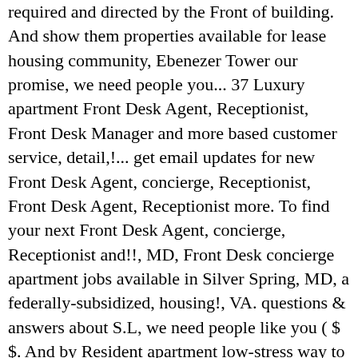required and directed by the Front of building. And show them properties available for lease housing community, Ebenezer Tower our promise, we need people you... 37 Luxury apartment Front Desk Agent, Receptionist, Front Desk Manager and more based customer service, detail,!... get email updates for new Front Desk Agent, concierge, Receptionist, Front Desk Agent, Receptionist more. To find your next Front Desk Agent, concierge, Receptionist and!!, MD, Front Desk concierge apartment jobs available in Silver Spring, MD, a federally-subsidized, housing!, VA. questions & answers about S.L, we need people like you ( $ $. And by Resident apartment low-stress way to find your next Front Desk now... Right Front Desk managers to date lists of residents, alphabetically and by Resident apartment Friday from 4 PM 12! Flexible and ability to